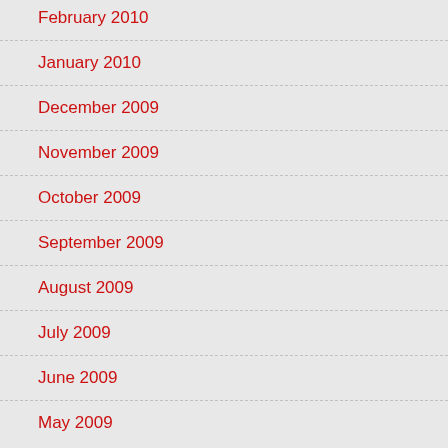February 2010
January 2010
December 2009
November 2009
October 2009
September 2009
August 2009
July 2009
June 2009
May 2009